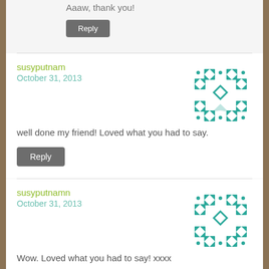Aaaw, thank you!
Reply
susyputnam
October 31, 2013
[Figure (illustration): Teal geometric avatar icon with diamond/square pattern]
well done my friend! Loved what you had to say.
Reply
susyputnamn
October 31, 2013
[Figure (illustration): Teal geometric avatar icon with diamond/square pattern]
Wow. Loved what you had to say! xxxx
Reply